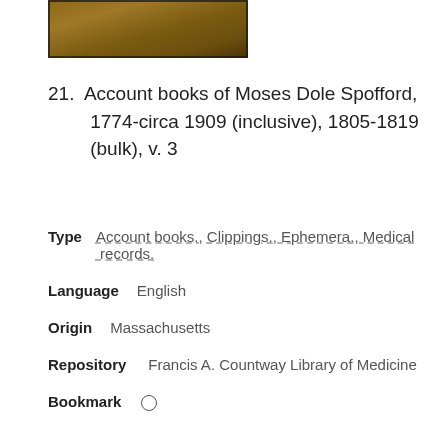[Figure (photo): Photograph of an old book cover or leather-bound volume, brownish tones]
21. Account books of Moses Dole Spofford, 1774-circa 1909 (inclusive), 1805-1819 (bulk), v. 3
Type   Account books., Clippings., Ephemera., Medical records.
Language   English
Origin   Massachusetts
Repository   Francis A. Countway Library of Medicine
Bookmark  ○